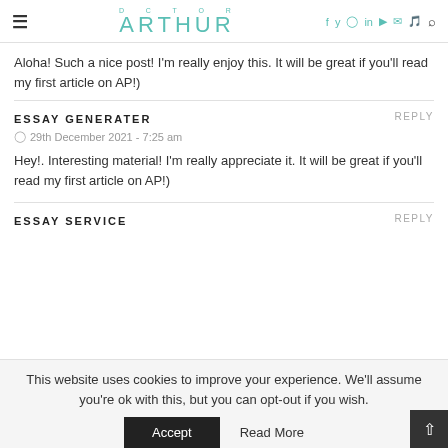Doctor Arthur — navigation header with social icons
Aloha! Such a nice post! I'm really enjoy this. It will be great if you'll read my first article on AP!)
ESSAY GENERATER
29th December 2021 - 7:25 am
Hey!. Interesting material! I'm really appreciate it. It will be great if you'll read my first article on AP!)
ESSAY SERVICE
This website uses cookies to improve your experience. We'll assume you're ok with this, but you can opt-out if you wish.